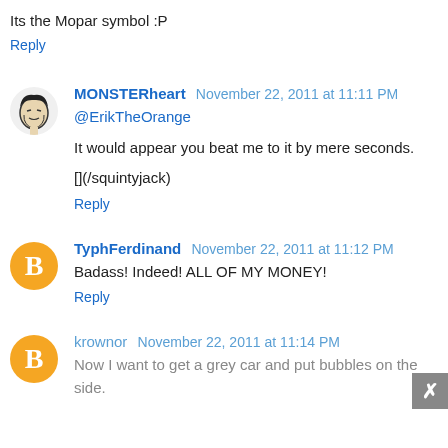Its the Mopar symbol :P
Reply
MONSTERheart November 22, 2011 at 11:11 PM
@ErikTheOrange
It would appear you beat me to it by mere seconds.
[](/squintyjack)
Reply
TyphFerdinand November 22, 2011 at 11:12 PM
Badass! Indeed! ALL OF MY MONEY!
Reply
krownor November 22, 2011 at 11:14 PM
Now I want to get a grey car and put bubbles on the side.